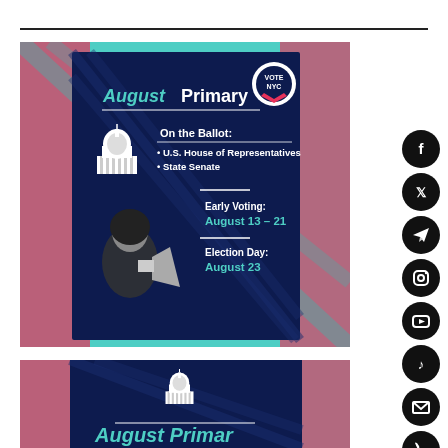[Figure (infographic): August Primary infographic card with teal/red background, dark navy center panel showing U.S. Capitol dome, 'August Primary' heading with a 'Vote NYC' badge, 'On the Ballot:' section listing U.S. House of Representatives and State Senate, Early Voting August 13-21, Election Day August 23, and a woman holding a megaphone.]
[Figure (infographic): Partial second August Primary infographic card showing teal/red background with dark navy panel, U.S. Capitol dome icon, and partial 'August Primary' text at the bottom.]
[Figure (infographic): Social media icon buttons column on right side: Facebook, Twitter, Telegram, Instagram, YouTube, TikTok, Email, Phone, and scroll-to-top arrow.]